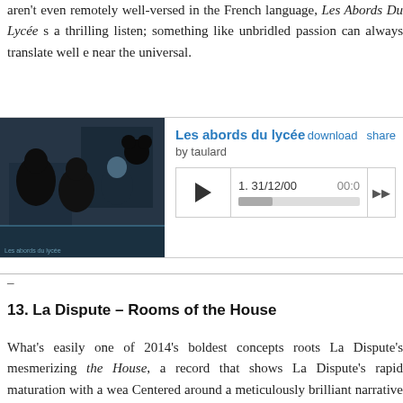aren't even remotely well-versed in the French language, Les Abords Du Lycée s a thrilling listen; something like unbridled passion can always translate well e near the universal.
[Figure (screenshot): Embedded music player widget for 'Les abords du lycée' by taulard, showing album art thumbnail, track title, download and share links, play button, track '1. 31/12/00', time '00:00', and a progress bar.]
–
13. La Dispute – Rooms of the House
What's easily one of 2014's boldest concepts roots La Dispute's mesmerizing the House, a record that shows La Dispute's rapid maturation with a wea Centered around a meticulously brilliant narrative device, it's a record that stu on my first few listens before growing into an inescapable force of nature that r leave my thoughts. As bleak as anything the post-hardcore has ever produced, the House finds its strength through focus and restraint, zeroing in on diffic with a keen eye and an abundance of determination. Blisteringly personal a voyeuristic, it stands as one of 2014's fiercest artistic statements.